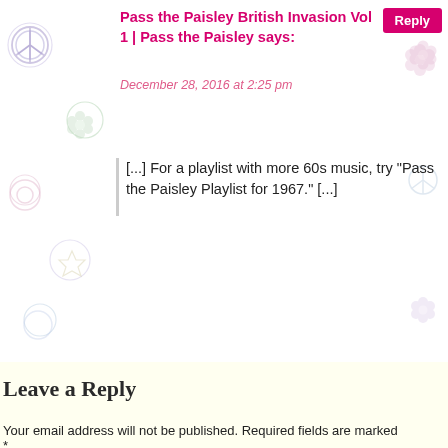Pass the Paisley British Invasion Vol 1 | Pass the Paisley says:
December 28, 2016 at 2:25 pm
[...] For a playlist with more 60s music, try "Pass the Paisley Playlist for 1967." [...]
Leave a Reply
Your email address will not be published. Required fields are marked *
Comment *